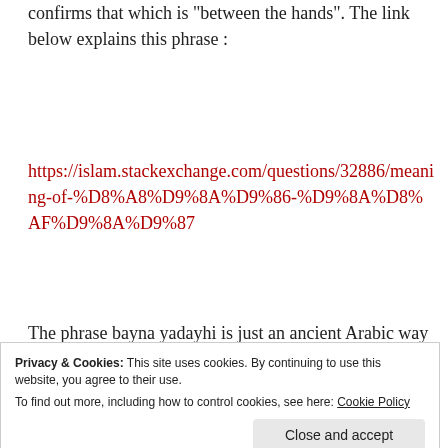confirms that which is "between the hands". The link below explains this phrase :
https://islam.stackexchange.com/questions/32886/meaning-of-%D8%A8%D9%8A%D9%86-%D9%8A%D8%AF%D9%8A%D9%87
The phrase bayna yadayhi is just an ancient Arabic way of saying “before you / in front of you”. Think of the English usage: “the sea was before us,”
Privacy & Cookies: This site uses cookies. By continuing to use this website, you agree to their use.
To find out more, including how to control cookies, see here: Cookie Policy
before in time.